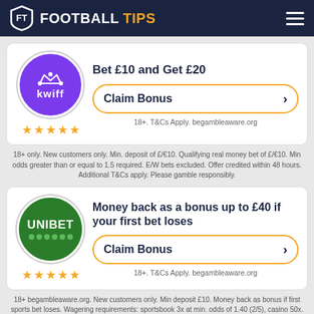FOOTBALL TIPS
[Figure (logo): Kwiff logo - purple circle with crown icon and kwiff text, 5 star rating]
Bet £10 and Get £20
Claim Bonus
18+. T&Cs Apply. begambleaware.org
18+ only. New customers only. Min. deposit of £/€10. Qualifying real money bet of £/€10. Min odds greater than or equal to 1.5 required. E/W bets excluded. Offer credited within 48 hours. Additional T&Cs apply. Please gamble responsibly.
[Figure (logo): Unibet logo - green circle with UNIBET text, 5 star rating]
Money back as a bonus up to £40 if your first bet loses
Claim Bonus
18+. T&Cs Apply. begambleaware.org
18+ begambleaware.org. New customers only. Min deposit £10. Money back as bonus if first sports bet loses. Wagering requirements: sportsbook 3x at min. odds of 1.40 (2/5), casino 50x.